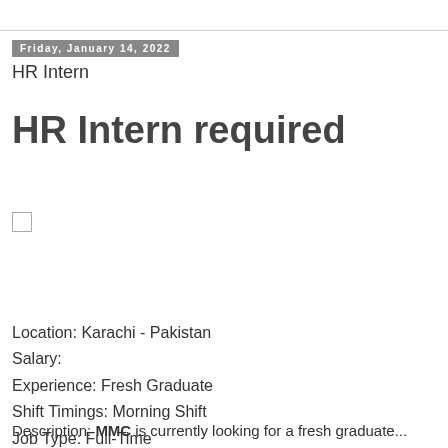Friday, January 14, 2022
HR Intern
HR Intern required
Location: Karachi - Pakistan
Salary:
Experience: Fresh Graduate
Shift Timings: Morning Shift
Job Type: Full-Time
Description: MMC is currently looking for a fresh graduate...